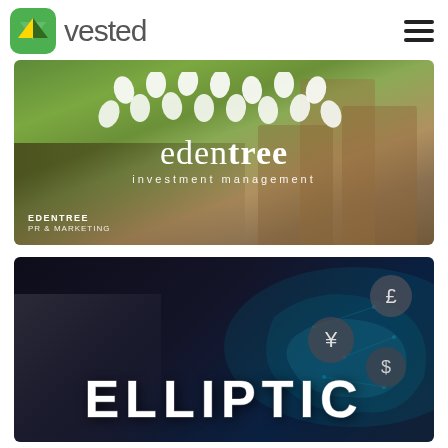[Figure (logo): Vested logo with green icon and hamburger menu]
[Figure (photo): EdenTree Investment Management promotional card showing stacked coins on a green bokeh background with the EdenTree logo and white leaf dot pattern. Label reads EDENTREE PR & MARKETING.]
[Figure (photo): Elliptic company promotional card showing dark background with currency symbols (£, ¥, $) and a teal world map graphic. Large italic text reads ELLIPTIC.]